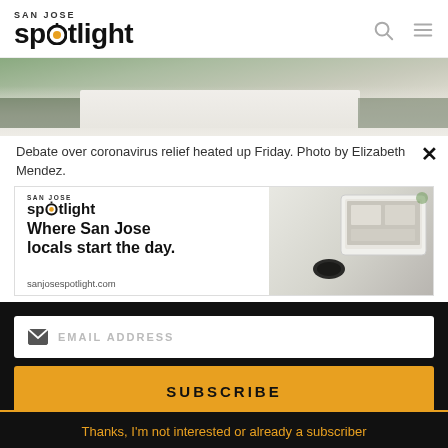SAN JOSE Spotlight
[Figure (photo): Aerial or front-facing photo of a white government building (White House) with trees and greenery]
Debate over coronavirus relief heated up Friday. Photo by Elizabeth Mendez.
[Figure (infographic): San Jose Spotlight advertisement banner showing logo, tagline 'Where San Jose locals start the day.' and sanjosespotlight.com, with tablet/phone imagery on right]
EMAIL ADDRESS
SUBSCRIBE
Thanks, I'm not interested or already a subscriber